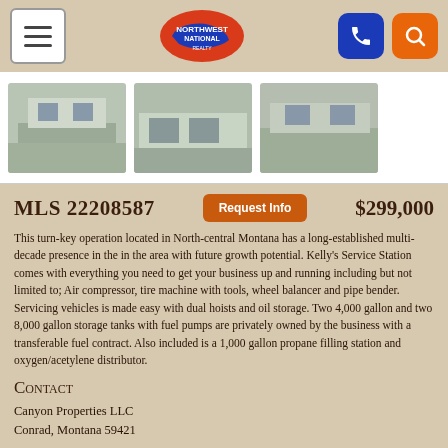Northwest National — navigation bar with hamburger menu, logo, phone and search buttons
[Figure (photo): Three thumbnail photos of a service station property exterior]
MLS 22208587   $299,000
This turn-key operation located in North-central Montana has a long-established multi-decade presence in the in the area with future growth potential. Kelly's Service Station comes with everything you need to get your business up and running including but not limited to; Air compressor, tire machine with tools, wheel balancer and pipe bender. Servicing vehicles is made easy with dual hoists and oil storage. Two 4,000 gallon and two 8,000 gallon storage tanks with fuel pumps are privately owned by the business with a transferable fuel contract. Also included is a 1,000 gallon propane filling station and oxygen/acetylene distributor.
Contact
Canyon Properties LLC
Conrad, Montana 59421